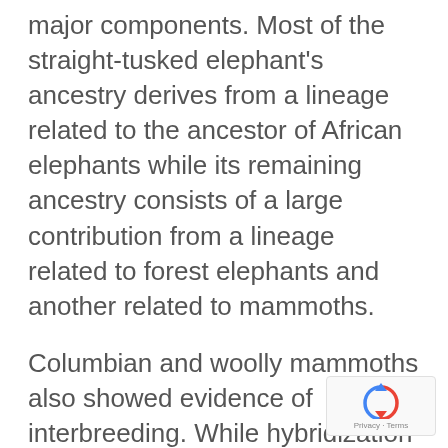major components. Most of the straight-tusked elephant's ancestry derives from a lineage related to the ancestor of African elephants while its remaining ancestry consists of a large contribution from a lineage related to forest elephants and another related to mammoths.
Columbian and woolly mammoths also showed evidence of interbreeding. While hybridization events have contributed to elephant evolution, isolation also played an important role.
The study data reveal nearly complete isolation between the